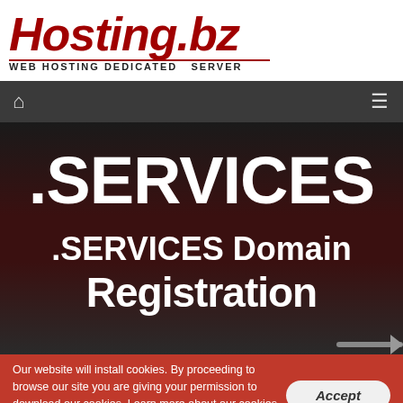[Figure (logo): Hosting.bz logo with red italic text and subtitle WEB HOSTING DEDICATED SERVER]
Navigation bar with home icon and hamburger menu
.SERVICES
.SERVICES Domain
Registration
Our website will install cookies. By proceeding to browse our site you are giving your permission to download our cookies. Learn more about our cookies here.